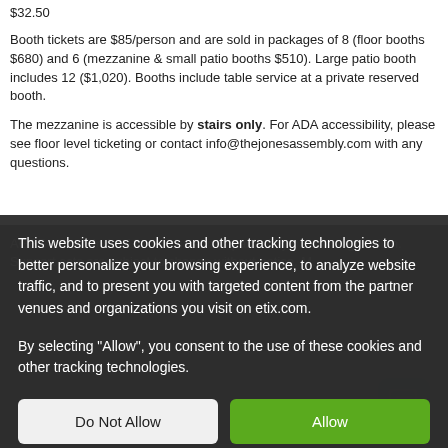$32.50
Booth tickets are $85/person and are sold in packages of 8 (floor booths $680) and 6 (mezzanine & small patio booths $510). Large patio booth includes 12 ($1,020). Booths include table service at a private reserved booth.
The mezzanine is accessible by stairs only. For ADA accessibility, please see floor level ticketing or contact info@thejonesassembly.com with any questions.
AGES show. Under 16 must be accompanied by parent or guardian. Support acts are subject to change without notice. M...
This website uses cookies and other tracking technologies to better personalize your browsing experience, to analyze website traffic, and to present you with targeted content from the partner venues and organizations you visit on etix.com.

By selecting "Allow", you consent to the use of these cookies and other tracking technologies.
[Figure (photo): Concert photo showing several people standing at what appears to be a music event, with purple/lavender lighting]
[Figure (other): Blue chat/message icon button in the bottom right corner]